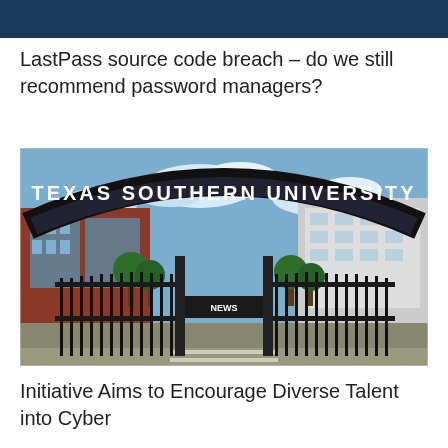LastPass source code breach – do we still recommend password managers?
[Figure (photo): Entrance gate arch of Texas Southern University with black metal gates and university name in white letters on the arch, surrounded by campus buildings and trees under a partly cloudy sky.]
Initiative Aims to Encourage Diverse Talent into Cyber